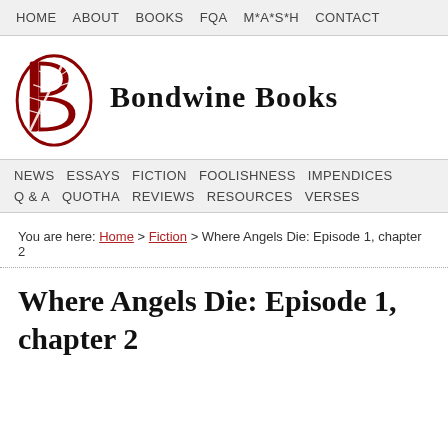HOME   ABOUT   BOOKS   FQA   M*A*S*H   CONTACT
[Figure (logo): Bondwine Books logo: a red stylized letter B with a feather quill, next to the text BONDWINE BOOKS in bold serif font]
NEWS   ESSAYS   FICTION   FOOLISHNESS   IMPENDICES   Q & A   QUOTHA   REVIEWS   RESOURCES   VERSES
You are here: Home > Fiction > Where Angels Die: Episode 1, chapter 2
Where Angels Die: Episode 1, chapter 2